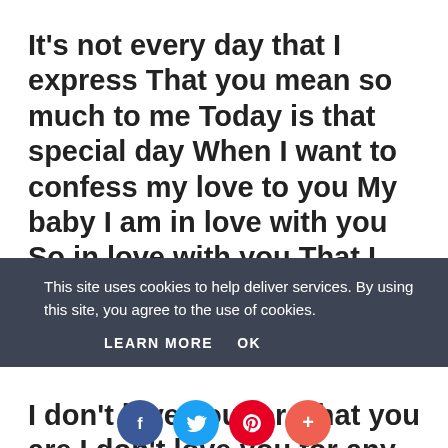It's not every day that I express That you mean so much to me Today is that special day When I want to confess my love to you My baby I am in love with you So in love with you That I can't live without you Happy
This site uses cookies to help deliver services. By using this site, you agree to the use of cookies.
LEARN MORE    OK
I don't love you for what you are I don't love you for any reason I love you coz you stay in